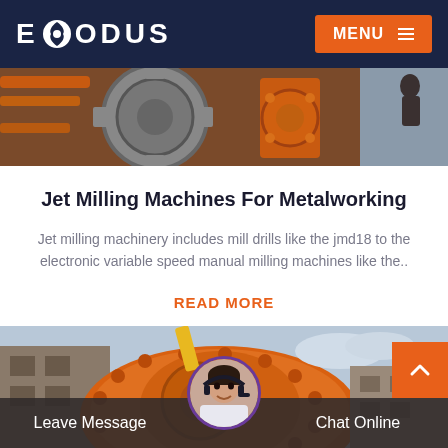EXODUS  MENU
[Figure (photo): Industrial machinery with large gears and orange metal parts, worker visible in background]
Jet Milling Machines For Metalworking
Jet milling machinery includes mill drills like the jmd18 to the electronic variable speed manual milling machines like the..
READ MORE
[Figure (photo): Large orange industrial ball mill or grinding machine outside a factory building with blue sky background]